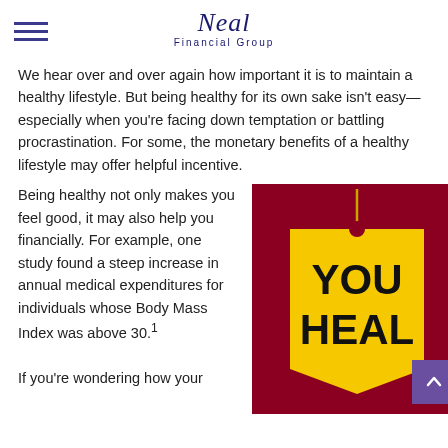Neal Financial Group
We hear over and over again how important it is to maintain a healthy lifestyle. But being healthy for its own sake isn't easy—especially when you're facing down temptation or battling procrastination. For some, the monetary benefits of a healthy lifestyle may offer helpful incentive.
Being healthy not only makes you feel good, it may also help you financially. For example, one study found a steep increase in annual medical expenditures for individuals whose Body Mass Index was above 30.¹
[Figure (photo): Yellow price tag with string on a dark red/crimson background, with text 'YOU' and 'HEAL' partially visible]
If you're wondering how your